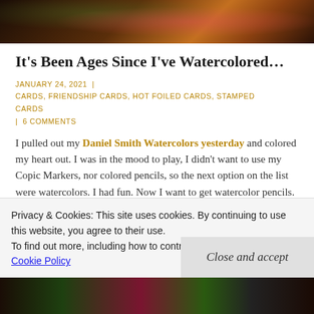[Figure (photo): Partial top of a photo showing floral/decorative imagery with dark background and colorful flowers]
It's Been Ages Since I've Watercolored…
JANUARY 24, 2021  |  CARDS, FRIENDSHIP CARDS, HOT FOILED CARDS, STAMPED CARDS
|  6 COMMENTS
I pulled out my Daniel Smith Watercolors yesterday and colored my heart out. I was in the mood to play, I didn't want to use my Copic Markers, nor colored pencils, so the next option on the list were watercolors. I had fun. Now I want to get watercolor pencils. Do you own any? Is there a brand you particularly like? I used to have Faber Castel
Privacy & Cookies: This site uses cookies. By continuing to use this website, you agree to their use.
To find out more, including how to control cookies, see here: Cookie Policy
Close and accept
[Figure (photo): Bottom partial photo showing floral stamped card with dark background, colorful flowers visible]